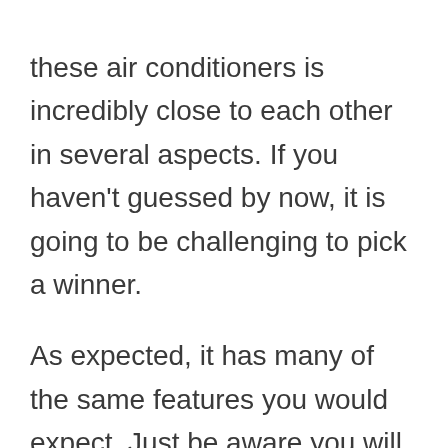these air conditioners is incredibly close to each other in several aspects. If you haven't guessed by now, it is going to be challenging to pick a winner.

As expected, it has many of the same features you would expect. Just be aware you will have to pay extra for the seven-day timer and the WiFi, which allows you to invest your money where you want to.

Its running costs leave a bit to be desired, as it nears $700 over the entire year. It has stars of 3.5 on heating and